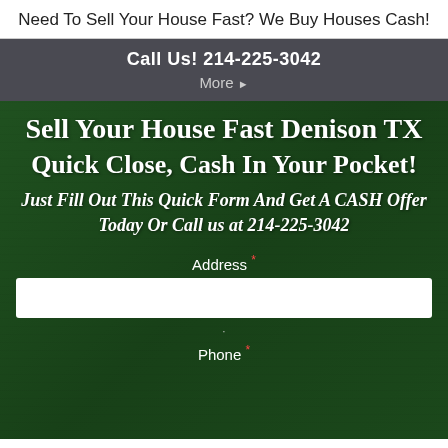Need To Sell Your House Fast? We Buy Houses Cash!
Call Us! 214-225-3042
More ▸
Sell Your House Fast Denison TX
Quick Close, Cash In Your Pocket!
Just Fill Out This Quick Form And Get A CASH Offer Today Or Call us at 214-225-3042
Address *
Phone *